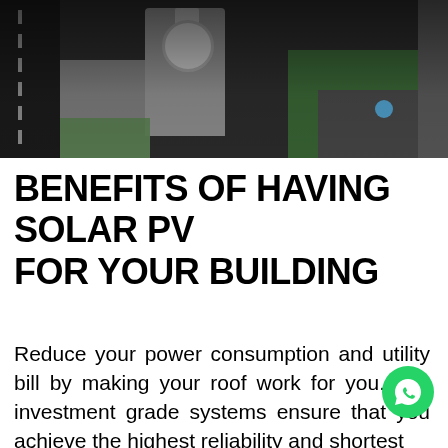[Figure (photo): Aerial view of a building with rooftop structure, roads, green areas and parking lot]
BENEFITS OF HAVING SOLAR PV
FOR YOUR BUILDING
Reduce your power consumption and utility bill by making your roof work for you. Our investment grade systems ensure that you achieve the highest reliability and shortest